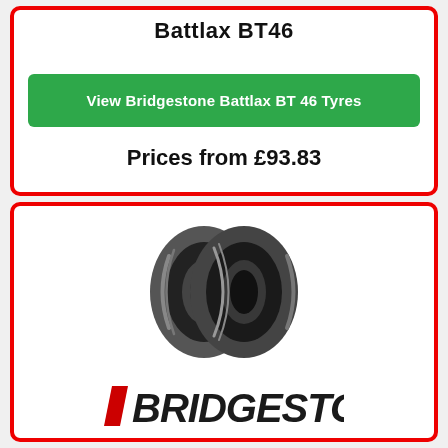Battlax BT46
View Bridgestone Battlax BT 46 Tyres
Prices from £93.83
[Figure (photo): Two motorcycle tyres (front view) - Bridgestone product photo]
[Figure (logo): Bridgestone logo in black and red italic lettering]